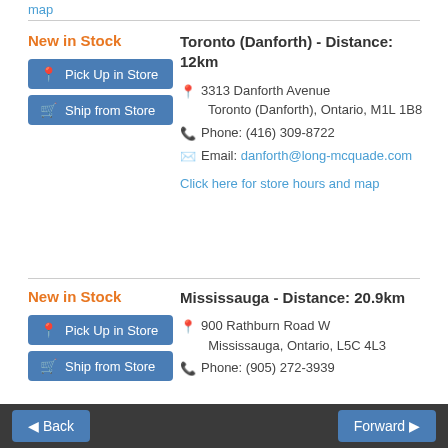map
New in Stock
Toronto (Danforth) - Distance: 12km
Pick Up in Store
Ship from Store
3313 Danforth Avenue Toronto (Danforth), Ontario, M1L 1B8
Phone: (416) 309-8722
Email: danforth@long-mcquade.com
Click here for store hours and map
New in Stock
Mississauga - Distance: 20.9km
Pick Up in Store
Ship from Store
900 Rathburn Road W Mississauga, Ontario, L5C 4L3
Phone: (905) 272-3939
Back | Forward